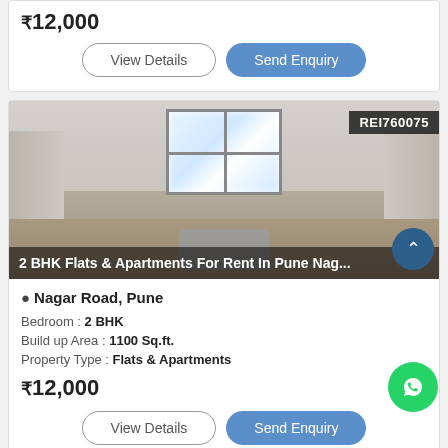₹12,000
View Details | Send Enquiry
[Figure (photo): Interior room photo of an empty apartment with a window, bare walls, and a reflective floor. Badge shows REI760075.]
2 BHK Flats & Apartments For Rent In Pune Nag...
Nagar Road, Pune
Bedroom : 2 BHK
Build up Area : 1100 Sq.ft.
Property Type : Flats & Apartments
₹12,000
View Details | Send Enquiry